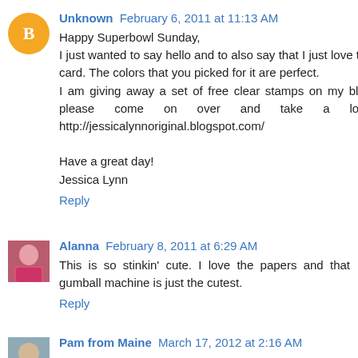[Figure (other): Blogger avatar: orange circle with white 'B' logo]
Unknown February 6, 2011 at 11:13 AM
Happy Superbowl Sunday,
I just wanted to say hello and to also say that I just love this card. The colors that you picked for it are perfect.
I am giving away a set of free clear stamps on my blog, please come on over and take a look. http://jessicalynnoriginal.blogspot.com/

Have a great day!
Jessica Lynn
Reply
[Figure (photo): Profile photo of Alanna, woman in pink top]
Alanna February 8, 2011 at 6:29 AM
This is so stinkin' cute. I love the papers and that gumball machine is just the cutest.
Reply
[Figure (photo): Partial profile photo of Pam from Maine]
Pam from Maine March 17, 2012 at 2:16 AM